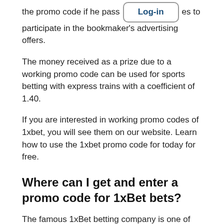the promo code if he pass [Log-in] es to participate in the bookmaker's advertising offers.
The money received as a prize due to a working promo code can be used for sports betting with express trains with a coefficient of 1.40.
If you are interested in working promo codes of 1xbet, you will see them on our website. Learn how to use the 1xbet promo code for today for free.
Where can I get and enter a promo code for 1xBet bets?
The famous 1xBet betting company is one of the first in the domestic betting market. Having started working in the usual format back in 2007 in Moscow, in 2012 the company created an official website, and then expanded to many of